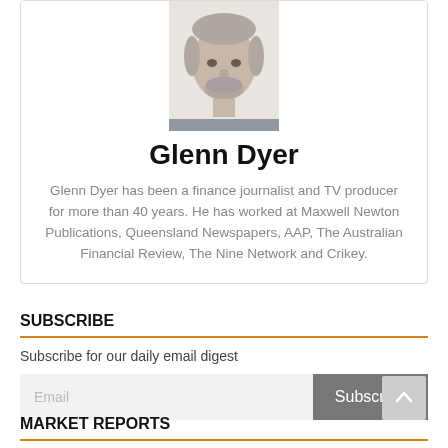[Figure (photo): Headshot photo of Glenn Dyer, an older man with grey hair and a beard]
Glenn Dyer
Glenn Dyer has been a finance journalist and TV producer for more than 40 years. He has worked at Maxwell Newton Publications, Queensland Newspapers, AAP, The Australian Financial Review, The Nine Network and Crikey.
SUBSCRIBE
Subscribe for our daily email digest
MARKET REPORTS